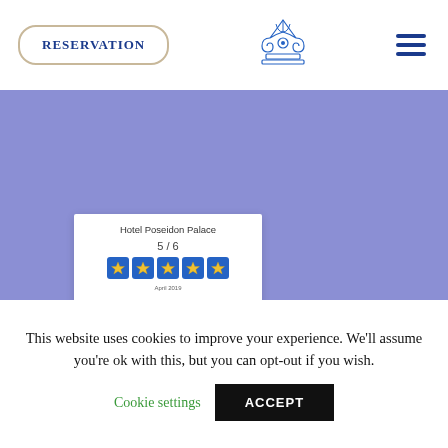[Figure (screenshot): Hotel website header with RESERVATION button, Greek ornament logo, and hamburger menu icon]
[Figure (photo): Hotel certificate card for Hotel Poseidon Palace showing 5/6 rating with 5 blue star boxes, date April 2019, two signatures, and blue footer bar]
This website uses cookies to improve your experience. We'll assume you're ok with this, but you can opt-out if you wish.
Cookie settings
ACCEPT